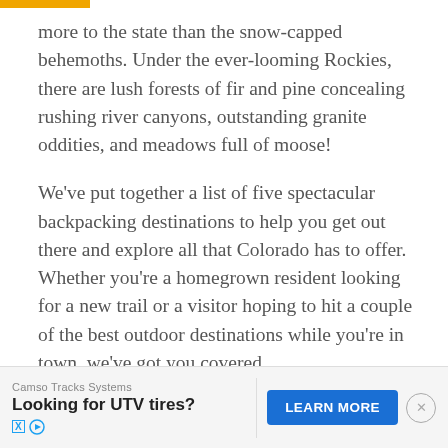more to the state than the snow-capped behemoths. Under the ever-looming Rockies, there are lush forests of fir and pine concealing rushing river canyons, outstanding granite oddities, and meadows full of moose!
We've put together a list of five spectacular backpacking destinations to help you get out there and explore all that Colorado has to offer. Whether you're a homegrown resident looking for a new trail or a visitor hoping to hit a couple of the best outdoor destinations while you're in town, we've got you covered.
[Figure (other): Advertisement banner: Camso Tracks Systems - Looking for UTV tires? with a LEARN MORE button and close button]